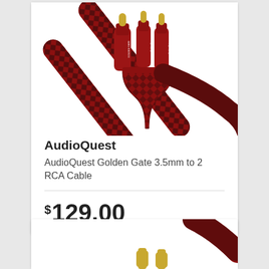[Figure (photo): AudioQuest Golden Gate cable with red braided jacket, showing 3.5mm stereo plug on one end and two RCA connectors on the other end, gold-tipped connectors with red metallic barrels]
AudioQuest
AudioQuest Golden Gate 3.5mm to 2 RCA Cable
$129.00
[Figure (photo): Partial view of another AudioQuest cable with gold connectors and red braided jacket, cropped at bottom of page]